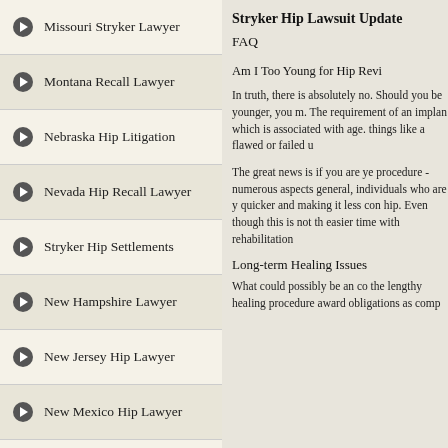Missouri Stryker Lawyer
Montana Recall Lawyer
Nebraska Hip Litigation
Nevada Hip Recall Lawyer
Stryker Hip Settlements
New Hampshire Lawyer
New Jersey Hip Lawyer
New Mexico Hip Lawyer
New York Hip Recall
North Carolina Lawyer
North Dakota Hip Recall
Stryker Hip Lawsuit Update
FAQ
Am I Too Young for Hip Revi
In truth, there is absolutely no. Should you be younger, you m. The requirement of an implan which is associated with age. things like a flawed or failed u
The great news is if you are ye procedure - numerous aspects general, individuals who are y quicker and making it less con hip. Even though this is not th easier time with rehabilitation
Long-term Healing Issues
What could possibly be an co the lengthy healing procedure award obligations as comp